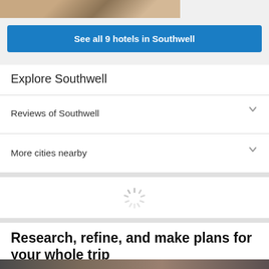[Figure (photo): Partial hotel room image at top of page]
See all 9 hotels in Southwell
Explore Southwell
Reviews of Southwell
More cities nearby
[Figure (other): Loading spinner animation]
Research, refine, and make plans for your whole trip
[Figure (photo): Partial photo strip at bottom of page]